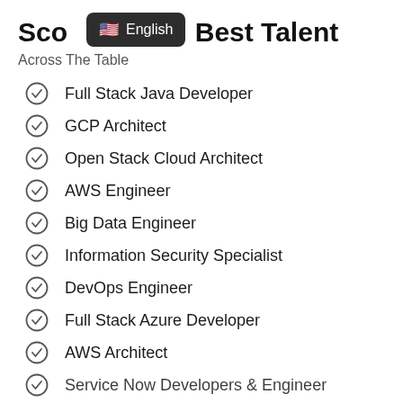Score Best Talent
[Figure (other): Tooltip overlay showing US flag emoji and the word 'English' on a dark rounded rectangle background]
Across The Table
Full Stack Java Developer
GCP Architect
Open Stack Cloud Architect
AWS Engineer
Big Data Engineer
Information Security Specialist
DevOps Engineer
Full Stack Azure Developer
AWS Architect
Service Now Developers & Engineer